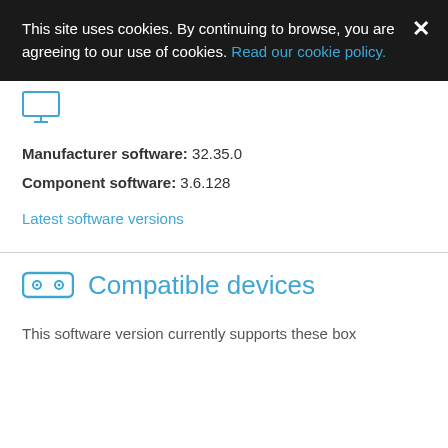This site uses cookies. By continuing to browse, you are agreeing to our use of cookies. Read our cookie policy.
[Figure (illustration): Monitor/screen icon in blue outline style]
Manufacturer software: 32.35.0
Component software: 3.6.128
Latest software versions
Compatible devices
This software version currently supports these box